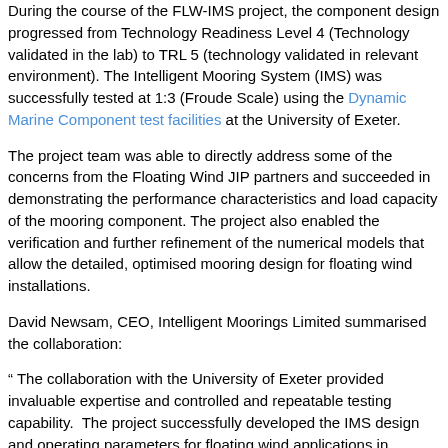During the course of the FLW-IMS project, the component design progressed from Technology Readiness Level 4 (Technology validated in the lab) to TRL 5 (technology validated in relevant environment). The Intelligent Mooring System (IMS) was successfully tested at 1:3 (Froude Scale) using the Dynamic Marine Component test facilities at the University of Exeter.
The project team was able to directly address some of the concerns from the Floating Wind JIP partners and succeeded in demonstrating the performance characteristics and load capacity of the mooring component. The project also enabled the verification and further refinement of the numerical models that allow the detailed, optimised mooring design for floating wind installations.
David Newsam, CEO, Intelligent Moorings Limited summarised the collaboration:
“ The collaboration with the University of Exeter provided invaluable expertise and controlled and repeatable testing capability.  The project successfully developed the IMS design and operating parameters for floating wind applications in advance of sea trials later this year.”
Prof Philipp Thies, Associate Professor commented: